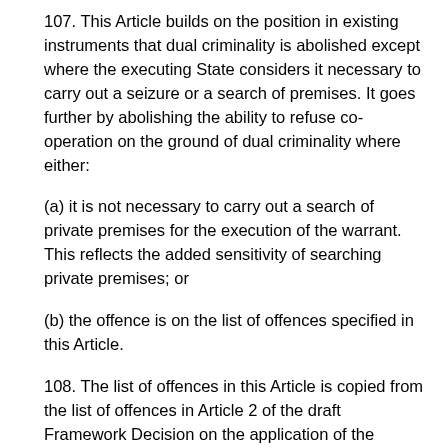107. This Article builds on the position in existing instruments that dual criminality is abolished except where the executing State considers it necessary to carry out a seizure or a search of premises. It goes further by abolishing the ability to refuse co-operation on the ground of dual criminality where either:
(a) it is not necessary to carry out a search of private premises for the execution of the warrant. This reflects the added sensitivity of searching private premises; or
(b) the offence is on the list of offences specified in this Article.
108. The list of offences in this Article is copied from the list of offences in Article 2 of the draft Framework Decision on the application of the principle of mutual recognition to financial penalties. This builds upon the list of offences in Article 2 of the Framework Decision